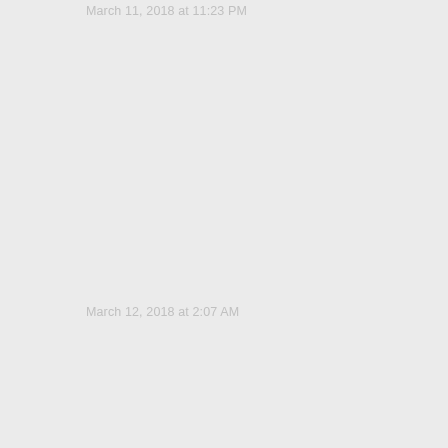March 11, 2018 at 11:23 PM
March 12, 2018 at 2:07 AM